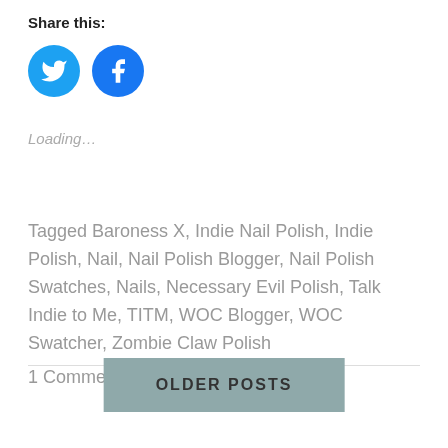Share this:
[Figure (illustration): Two circular social media share buttons: Twitter (blue bird icon) and Facebook (blue 'f' icon)]
Loading...
Tagged Baroness X, Indie Nail Polish, Indie Polish, Nail, Nail Polish Blogger, Nail Polish Swatches, Nails, Necessary Evil Polish, Talk Indie to Me, TITM, WOC Blogger, WOC Swatcher, Zombie Claw Polish
1 Comment
OLDER POSTS